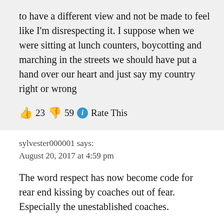to have a different view and not be made to feel like I'm disrespecting it. I suppose when we were sitting at lunch counters, boycotting and marching in the streets we should have put a hand over our heart and just say my country right or wrong
👍 23 👎 59 ℹ Rate This
sylvester000001 says:
August 20, 2017 at 4:59 pm
The word respect has now become code for rear end kissing by coaches out of fear. Especially the unestablished coaches.
The foundation of the word respect is tolerance; and these players have zero tolerance for differing opinion. I would like to hear what Jenkins et al have said about respecting those who think they're going about this all wrong. I want to hear Jenkins et al explain their understanding and equality of people who find their actions willful disrespect as a way to draw attention